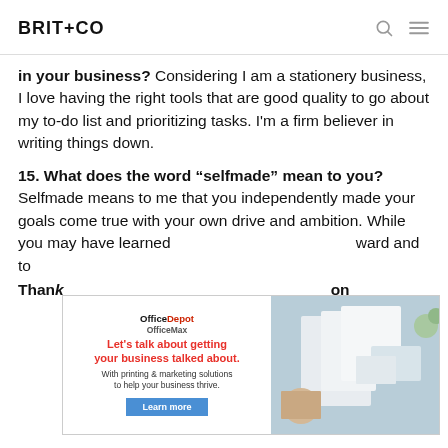BRIT+CO
in your business? Considering I am a stationery business, I love having the right tools that are good quality to go about my to-do list and prioritizing tasks. I'm a firm believer in writing things down.
15. What does the word “selfmade” mean to you?
Selfmade means to me that you independently made your goals come true with your own drive and ambition. While you may have learned ... ward and to...
[Figure (other): Office Depot OfficeMax advertisement overlay: 'Let’s talk about getting your business talked about. With printing & marketing solutions to help your business thrive. Learn more' with a photo of stationery/office supplies on a desk.]
Than... on